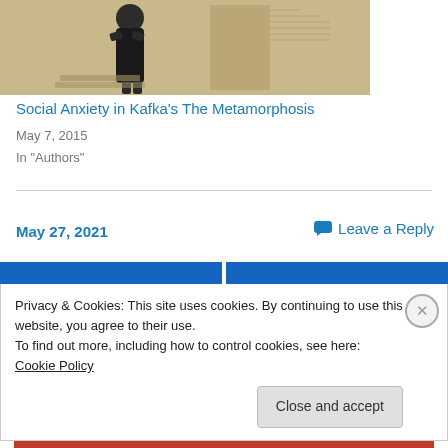[Figure (illustration): A black and white sketch/illustration of a person in a long coat standing near a doorway, on a beige/tan background.]
Social Anxiety in Kafka's The Metamorphosis
May 7, 2015
In "Authors"
May 27, 2021
Leave a Reply
Privacy & Cookies: This site uses cookies. By continuing to use this website, you agree to their use.
To find out more, including how to control cookies, see here: Cookie Policy
Close and accept